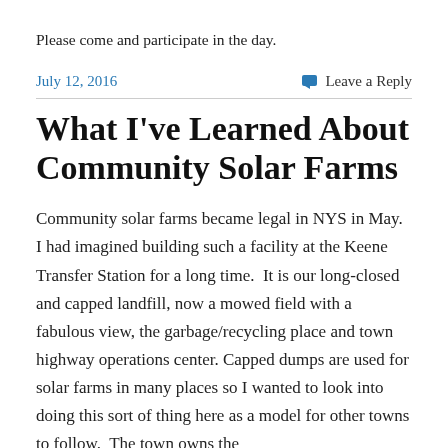Please come and participate in the day.
July 12, 2016
Leave a Reply
What I've Learned About Community Solar Farms
Community solar farms became legal in NYS in May.  I had imagined building such a facility at the Keene Transfer Station for a long time.  It is our long-closed and capped landfill, now a mowed field with a fabulous view, the garbage/recycling place and town highway operations center. Capped dumps are used for solar farms in many places so I wanted to look into doing this sort of thing here as a model for other towns to follow.  The town owns the